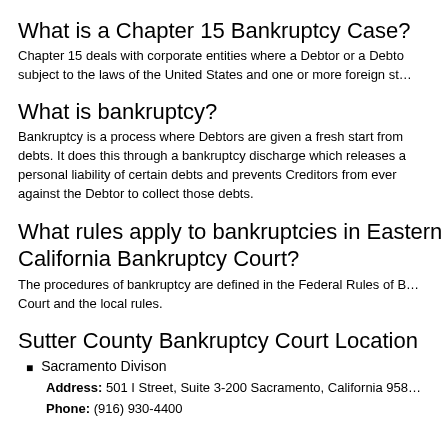What is a Chapter 15 Bankruptcy Case?
Chapter 15 deals with corporate entities where a Debtor or a Debtor's assets are subject to the laws of the United States and one or more foreign st...
What is bankruptcy?
Bankruptcy is a process where Debtors are given a fresh start from their debts. It does this through a bankruptcy discharge which releases a personal liability of certain debts and prevents Creditors from ever against the Debtor to collect those debts.
What rules apply to bankruptcies in Eastern California Bankruptcy Court?
The procedures of bankruptcy are defined in the Federal Rules of B... Court and the local rules.
Sutter County Bankruptcy Court Location
Sacramento Divison
Address: 501 I Street, Suite 3-200 Sacramento, California 958...
Phone: (916) 930-4400